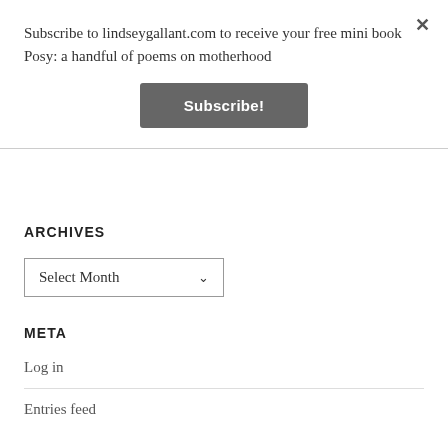Subscribe to lindseygallant.com to receive your free mini book Posy: a handful of poems on motherhood
×
Subscribe!
ARCHIVES
Select Month
META
Log in
Entries feed